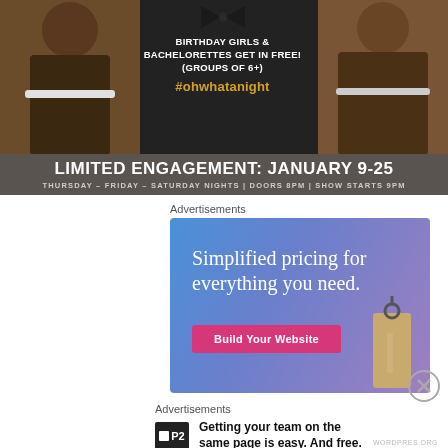[Figure (photo): Promotional advertisement featuring two shirtless male performers on either side, a bow tie graphic in the center, text 'BIRTHDAY GIRLS & BACHELORETTES GET IN FREE! (GROUPS OF 6+)' with hashtag '#ohwhatanight', and a dark banner reading 'LIMITED ENGAGEMENT: JANUARY 9-25 / THURSDAY – FRIDAY – SATURDAY NIGHTS | DOORS 8PM | SHOW STARTS 9PM']
Advertisements
[Figure (infographic): Website builder advertisement with gradient blue-purple background, text 'Simplified pricing for everything you need.', pink button 'Build Your Website', and a price tag graphic on the right]
Advertisements
[Figure (infographic): P2 advertisement with black square logo showing a grid icon and 'P2' text, followed by bold text 'Getting your team on the same page is easy. And free.']